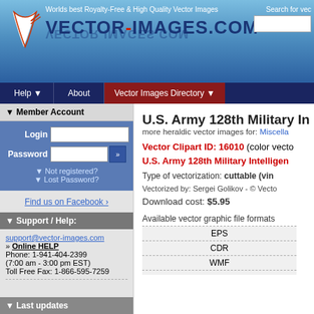Worlds best Royalty-Free & High Quality Vector Images — VECTOR-IMAGES.COM
Help   About   Vector Images Directory
Member Account
Login | Password | Not registered? | Lost Password?
Find us on Facebook ›
Support / Help:
support@vector-images.com
» Online HELP
Phone: 1-941-404-2399
(7:00 am - 3:00 pm EST)
Toll Free Fax: 1-866-595-7259
Last updates
U.S. Army 128th Military Intelligence Brigade Distinctive Unit Insignia
more heraldic vector images for: Miscellaneous
Vector Clipart ID: 16010 (color vector)
U.S. Army 128th Military Intelligence Brigade Distinctive Unit Insignia
Type of vectorization: cuttable (vinyl ready)
Vectorized by: Sergei Golikov - © Vector-Images.com
Download cost: $5.95
Available vector graphic file formats
| Format |
| --- |
| EPS |
| CDR |
| WMF |